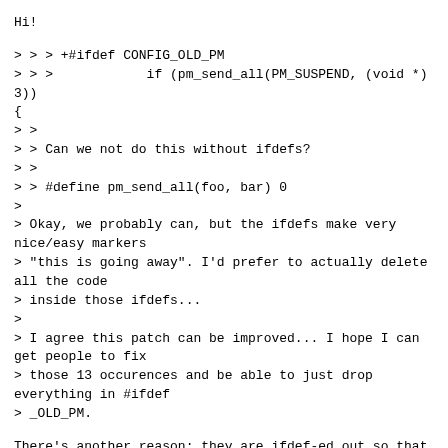Hi!
> > > +#ifdef CONFIG_OLD_PM
> > >            if (pm_send_all(PM_SUSPEND, (void *)3))
{
> >
> > Can we not do this without ifdefs?
> >
> > #define pm_send_all(foo, bar) 0
>
> Okay, we probably can, but the ifdefs make very nice/easy markers
> "this is going away". I'd prefer to actually delete all the code
> inside those ifdefs...
>
> I agree this patch can be improved... I hope I can get people to fix
> those 13 occurences and be able to just drop everything in #ifdef
> _OLD_PM.
There's another reason: they are ifdef-ed out so that you don't see
"obsolete function called" warning. Breaking the function and hiding
the warning at same time would seem like a wrong thing to do. If
someone does pm_send_all in his code, we want him to